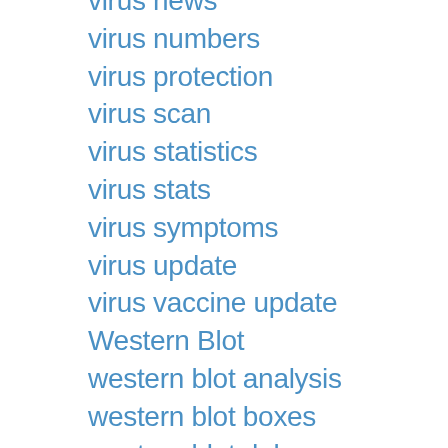virus news
virus numbers
virus protection
virus scan
virus statistics
virus stats
virus symptoms
virus update
virus vaccine update
Western Blot
western blot analysis
western blot boxes
western blot dab
western blot data
western blot data analysis